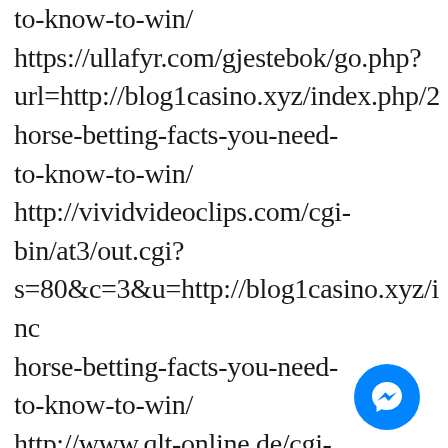to-know-to-win/ https://ullafyr.com/gjestebok/go.php?url=http://blog1casino.xyz/index.php/2 horse-betting-facts-you-need-to-know-to-win/ http://vividvideoclips.com/cgi-bin/at3/out.cgi?s=80&c=3&u=http://blog1casino.xyz/inc horse-betting-facts-you-need-to-know-to-win/ http://www.qlt-online.de/cgi-bin/click/clicknlog.pl?link=http://blog1casino.xyz/index.php/
[Figure (other): Blue circular Messenger chat button icon in bottom right corner]